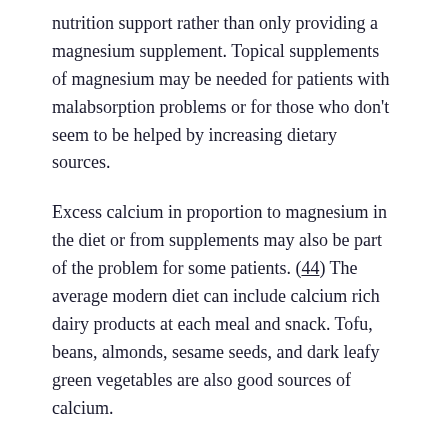nutrition support rather than only providing a magnesium supplement. Topical supplements of magnesium may be needed for patients with malabsorption problems or for those who don't seem to be helped by increasing dietary sources.
Excess calcium in proportion to magnesium in the diet or from supplements may also be part of the problem for some patients. (44) The average modern diet can include calcium rich dairy products at each meal and snack. Tofu, beans, almonds, sesame seeds, and dark leafy green vegetables are also good sources of calcium.
Free Continuing Education credit for nutritionists/diet techs:
For any dietitians or diet techs, much of the first